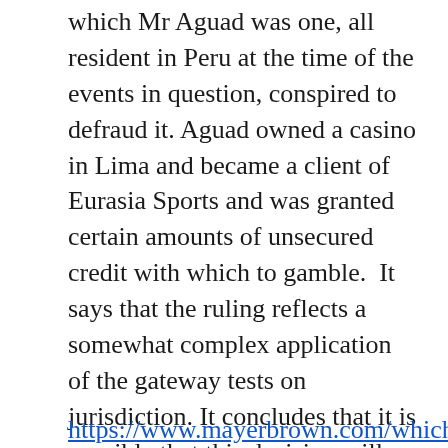which Mr Aguad was one, all resident in Peru at the time of the events in question, conspired to defraud it. Aguad owned a casino in Lima and became a client of Eurasia Sports and was granted certain amounts of unsecured credit with which to gamble.  It says that the ruling reflects a somewhat complex application of the gateway tests on jurisdiction. It concludes that it is possible that this decision will usher in a broader application of the rules on jurisdiction, and may reflect a growing willingness of the English courts to found jurisdiction in respect of claims and parties that they might not historically have done so.
https://www.mayerbrown.com/which-